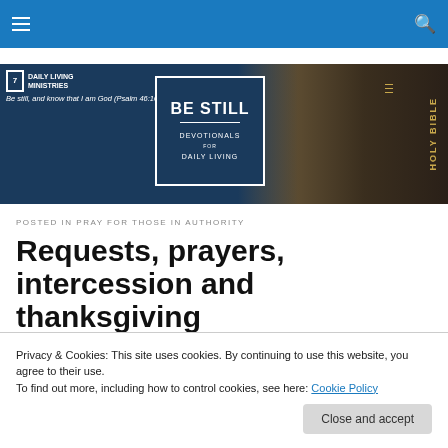Navigation bar with hamburger menu and search icon
[Figure (illustration): Daily Living Ministries banner with 'Be Still Devotionals for Daily Living' centered text and Holy Bible image on the right]
POSTED IN PRAY FOR THOSE IN AUTHORITY
Requests, prayers, intercession and thanksgiving
Privacy & Cookies: This site uses cookies. By continuing to use this website, you agree to their use.
To find out more, including how to control cookies, see here: Cookie Policy
Close and accept